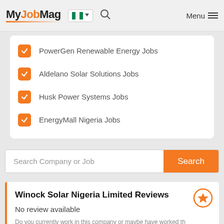MyJobMag — Menu
PowerGen Renewable Energy Jobs
Aldelano Solar Solutions Jobs
Husk Power Systems Jobs
EnergyMall Nigeria Jobs
Search Company or Job
Winock Solar Nigeria Limited Reviews
No review available
Do you currently work in this company or maybe have worked there before?